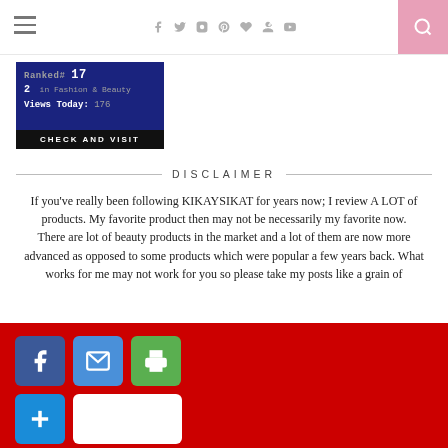Navigation bar with hamburger menu, social icons (Facebook, Twitter, Instagram, Pinterest, heart, Google+, YouTube), and search button
[Figure (screenshot): Blog ranking badge showing 'Ranked #17, 2 in Fashion & Beauty, Views Today: 176, CHECK AND VISIT' on dark blue background]
DISCLAIMER
If you've really been following KIKAYSIKAT for years now; I review A LOT of products. My favorite product then may not be necessarily my favorite now.
There are lot of beauty products in the market and a lot of them are now more advanced as opposed to some products which were popular a few years back. What works for me may not work for you so please take my posts like a grain of
Rest a...these revie...based
[Figure (screenshot): Social share bar overlay with Facebook, email, print buttons in row 1, and a plus/more button with blank white share button in row 2, on red background]